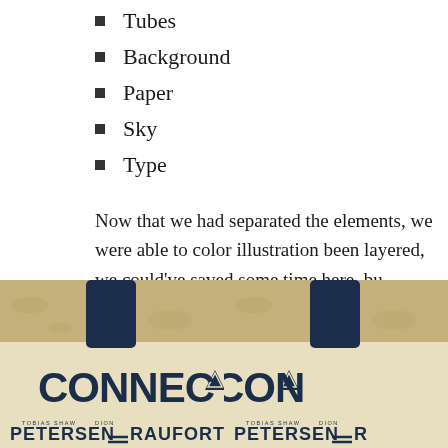Tubes
Background
Paper
Sky
Type
Now that we had separated the elements, we were able to color illustration been layered, we could've saved some time here, bu MacBook Pro wasn't fast enough (I gotta get me one of them M projects!). To give you an idea of how large the document was m amount of layers. Bear in mind that it's a 70 x 100 cm, 300 dpi
Final details
[Figure (photo): Two side-by-side poster images showing 'CONNECT' text with 'PETERSEN — RAUFORT' credits on a vintage-style film/event poster with dark navy text on beige/sandy background]